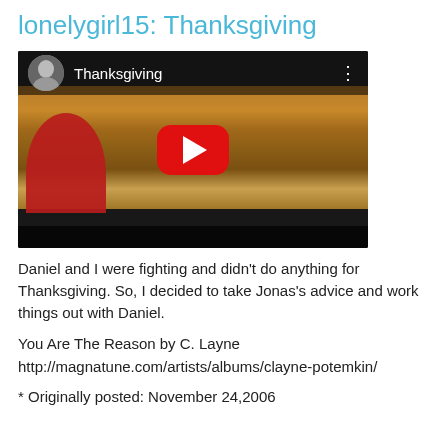lonelygirl15: Thanksgiving
[Figure (screenshot): YouTube video thumbnail for 'Thanksgiving' showing an outdoor autumn scene with a person in a red jacket, a YouTube play button overlay, a channel avatar and video title in the top bar.]
Daniel and I were fighting and didn't do anything for Thanksgiving. So, I decided to take Jonas's advice and work things out with Daniel.
You Are The Reason by C. Layne
http://magnatune.com/artists/albums/clayne-potemkin/
* Originally posted: November 24,2006